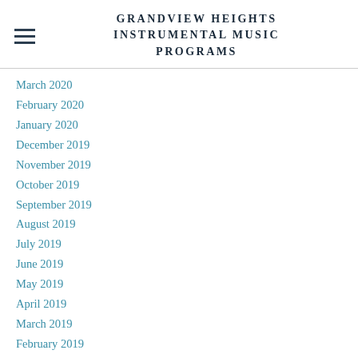GRANDVIEW HEIGHTS INSTRUMENTAL MUSIC PROGRAMS
March 2020
February 2020
January 2020
December 2019
November 2019
October 2019
September 2019
August 2019
July 2019
June 2019
May 2019
April 2019
March 2019
February 2019
January 2019
December 2018
November 2018